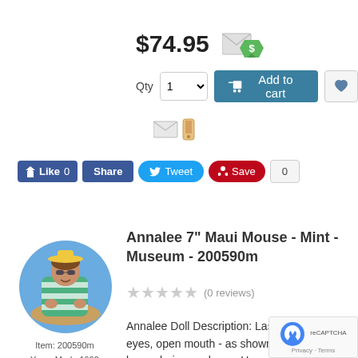$74.95
[Figure (screenshot): Add to cart row with quantity selector showing '1', blue 'Add to cart' button with cart icon, and grey heart/wishlist button]
[Figure (screenshot): Mail and phone icon row]
[Figure (screenshot): Social sharing row: Facebook Like 0, Share, Tweet, Pinterest Save, count 0]
[Figure (photo): Annalee 7 inch Maui Mouse collectible doll wearing Hawaiian print swim trunks and green/white striped towel, brown hair, sunglasses, seated on sandy base]
Item: 200590m
Years Made 1990
Made in USA
Annalee 7" Maui Mouse - Mint - Museum - 200590m
(0 reviews)
Annalee Doll Description: Last one. Open eyes, open mouth - as shown, tan body, brown hair, sunglasses, Hawaiian print swim trunks, green/white terry cloth beach blanket, beach